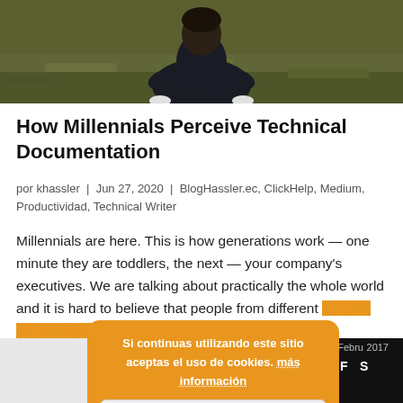[Figure (photo): Photo of person sitting on grass, viewed from above, dark clothing]
How Millennials Perceive Technical Documentation
por khassler  |  Jun 27, 2020  |  BlogHassler.ec, ClickHelp, Medium, Productividad, Technical Writer
Millennials are here. This is how generations work — one minute they are toddlers, the next — your company's executives. We are talking about practically the whole world and it is hard to believe that people from different cultures and backgrounds could have any...
Si continuas utilizando este sitio aceptas el uso de cookies. más información
Aceptar
[Figure (screenshot): Bottom strip showing a light grey area on the left and a dark calendar on the right showing 2017 February with day labels M T W T F S and numbers 1 2 3 4]